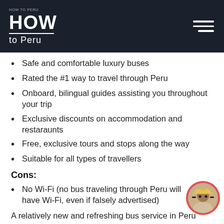HOW to Peru
Safe and comfortable luxury buses
Rated the #1 way to travel through Peru
Onboard, bilingual guides assisting you throughout your trip
Exclusive discounts on accommodation and restaraunts
Free, exclusive tours and stops along the way
Suitable for all types of travellers
Cons:
No Wi-Fi (no bus traveling through Peru will have Wi-Fi, even if falsely advertised)
A relatively new and refreshing bus service in Peru which started in October 2013, but already has over